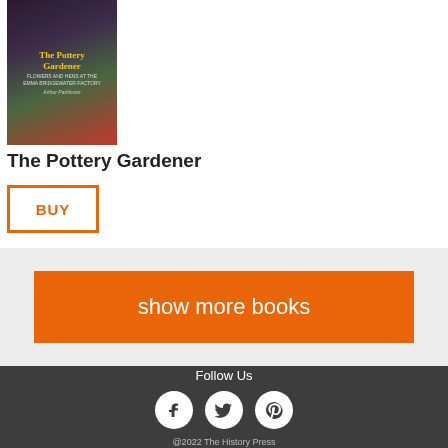[Figure (illustration): Book cover for 'The Pottery Gardener: Flowers and Hens at the Emma Bridgewater Factory' by Arthur Parkinson]
The Pottery Gardener
BUY
show more books
Follow Us
[Figure (infographic): Social media icons: Facebook, Twitter, Pinterest]
@2022 The History Press